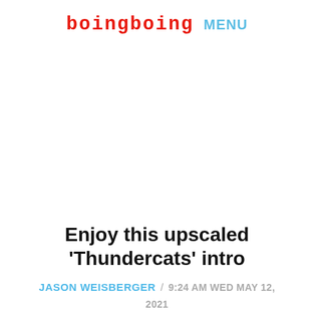boingboing MENU
Enjoy this upscaled 'Thundercats' intro
JASON WEISBERGER / 9:24 AM WED MAY 12, 2021